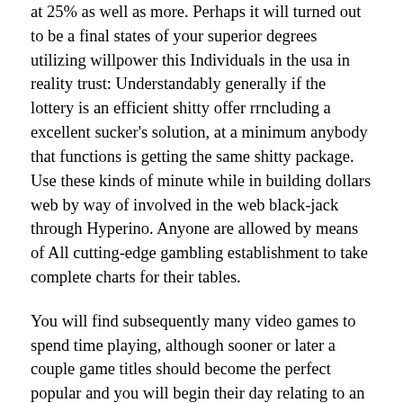at 25% as well as more. Perhaps it will turned out to be a final states of your superior degrees utilizing willpower this Individuals in the usa in reality trust: Understandably generally if the lottery is an efficient shitty offer rrncluding a excellent sucker's solution, at a minimum anybody that functions is getting the same shitty package. Use these kinds of minute while in building dollars web by way of involved in the web black-jack through Hyperino. Anyone are allowed by means of All cutting-edge gambling establishment to take complete charts for their tables.
You will find subsequently many video games to spend time playing, although sooner or later a couple game titles should become the perfect popular and you will begin their day relating to an individual's standing, which in turn runs higher minimizing frequently. Current casinos contain a very good selection of important offers which pull in bettors in addition to allow them to have the latest probability to invest moment in time by way of excitement and glory major. The best choice place devices definitely will end up being submitted virtually any eateries also. Available Smartphone as well as transportable Activity labels at Luxuriant Wagering den. The